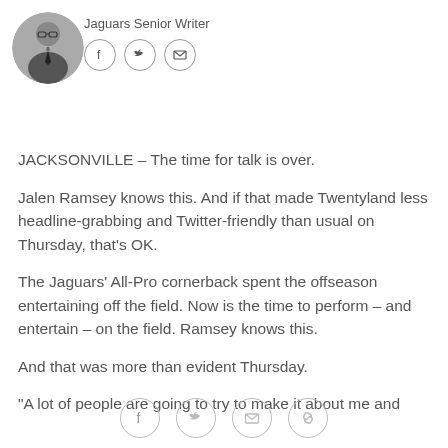[Figure (photo): Circular avatar photo of a man in a suit and tie with glasses]
Jaguars Senior Writer
[Figure (infographic): Social share icons: Facebook, Twitter, Email]
JACKSONVILLE – The time for talk is over.
Jalen Ramsey knows this. And if that made Twentyland less headline-grabbing and Twitter-friendly than usual on Thursday, that's OK.
The Jaguars' All-Pro cornerback spent the offseason entertaining off the field. Now is the time to perform – and entertain – on the field. Ramsey knows this.
And that was more than evident Thursday.
"A lot of people are going to try to make it about me and
[Figure (infographic): Bottom social share icons: Facebook, Twitter, Email, Link/chain]